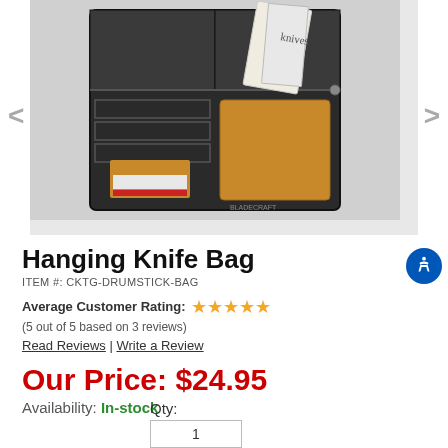[Figure (photo): A black hanging knife bag open and displaying its interior pockets and compartments, with a tan/amber leather pocket on the right side and a label tag on the left side. Knives paperwork/box visible inside.]
Hanging Knife Bag
ITEM #: CKTG-DRUMSTICK-BAG
Average Customer Rating: ★★★★★
(5 out of 5 based on 3 reviews)
Read Reviews | Write a Review
Our Price: $24.95
Availability: In-stock
Qty: